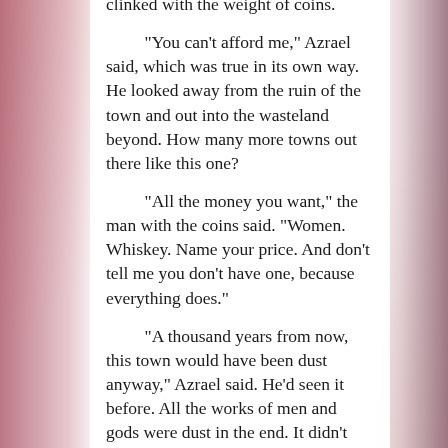clinked with the weight of coins.
“You can’t afford me,” Azrael said, which was true in its own way. He looked away from the ruin of the town and out into the wasteland beyond. How many more towns out there like this one?
“All the money you want,” the man with the coins said. “Women. Whiskey. Name your price. And don’t tell me you don’t have one, because everything does.”
“A thousand years from now, this town would have been dust anyway,” Azrael said. He’d seen it before. All the works of men and gods were dust in the end. It didn’t matter. Nothing mattered.
“We’ll give you your own damned town to destroy if that’s what you want,” the man who’d first stopped him said. “As long as the others get left alone by you and your kind.”